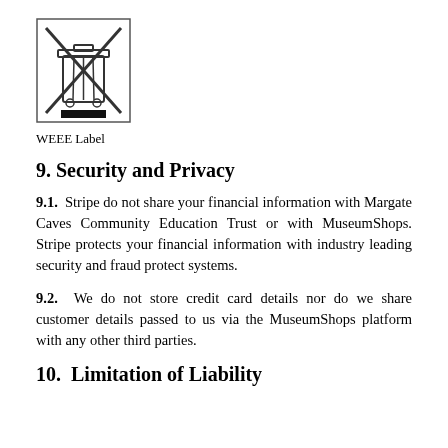[Figure (illustration): WEEE symbol: a crossed-out wheeled bin with an X through it, with a black bar underneath, inside a square border]
WEEE Label
9. Security and Privacy
9.1.  Stripe do not share your financial information with Margate Caves Community Education Trust or with MuseumShops. Stripe protects your financial information with industry leading security and fraud protect systems.
9.2.  We do not store credit card details nor do we share customer details passed to us via the MuseumShops platform with any other third parties.
10.  Limitation of Liability